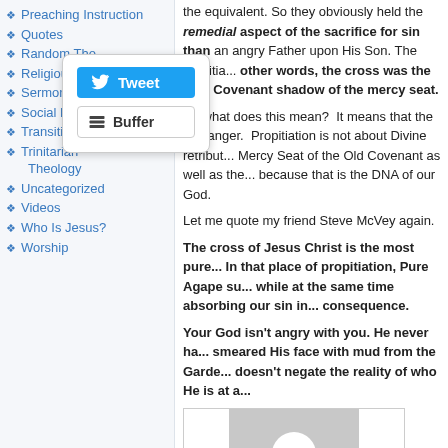Preaching Instruction
Quotes
Random Thoughts
Religious Liberty
Sermons
Social Media
Transition Zone
Trinitarian Theology
Uncategorized
Videos
Who Is Jesus?
Worship
the equivalent. So they obviously held the remedial aspect of the sacrifice for sin than an angry Father upon His Son. The propitia... other words, the cross was the New Covenant shadow of the mercy seat.
So what does this mean? It means that the cr... anger. Propitiation is not about Divine retribut... Mercy Seat of the Old Covenant as well as the... because that is the DNA of our God.
Let me quote my friend Steve McVey again.
The cross of Jesus Christ is the most pure... In that place of propitiation, Pure Agape su... while at the same time absorbing our sin in... consequence.
Your God isn't angry with you. He never ha... smeared His face with mud from the Garde... doesn't negate the reality of who He is at a...
[Figure (photo): Generic user profile avatar placeholder image — gray square with white silhouette of a person (head and shoulders)]